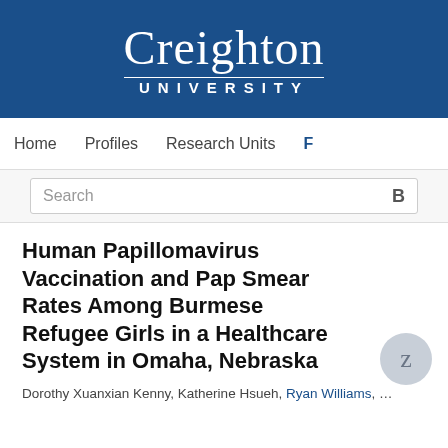[Figure (logo): Creighton University logo — white text on dark blue background, serif 'Creighton' above a thin white rule, then 'UNIVERSITY' in spaced sans-serif capitals]
Home   Profiles   Research Units   F
Search   B
Human Papillomavirus Vaccination and Pap Smear Rates Among Burmese Refugee Girls in a Healthcare System in Omaha, Nebraska
Dorothy Xuanxian Kenny, Katherine Hsueh, Ryan Williams, …